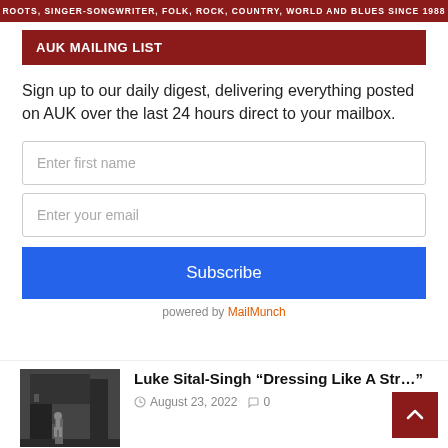ROOTS, SINGER-SONGWRITER, FOLK, ROCK, COUNTRY, WORLD AND BLUES SINCE 1988
AUK MAILING LIST
Sign up to our daily digest, delivering everything posted on AUK over the last 24 hours direct to your mailbox.
Enter first name
Enter your email
Subscribe
powered by MailMunch
[Figure (photo): Black and white photo of a person standing near a wooden building]
Luke Sital-Singh “Dressing Like A Stra…”
August 23, 2022  0